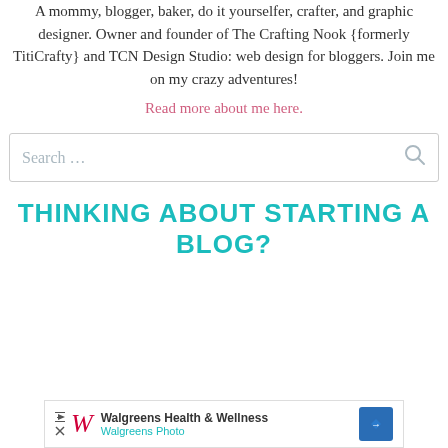A mommy, blogger, baker, do it yourselfer, crafter, and graphic designer. Owner and founder of The Crafting Nook {formerly TitiCrafty} and TCN Design Studio: web design for bloggers. Join me on my crazy adventures!
Read more about me here.
[Figure (screenshot): Search input box with placeholder text 'Search ...' and a search icon on the right]
THINKING ABOUT STARTING A BLOG?
[Figure (screenshot): Walgreens Health & Wellness advertisement banner with Walgreens logo, play/close buttons, and a blue diamond arrow icon]